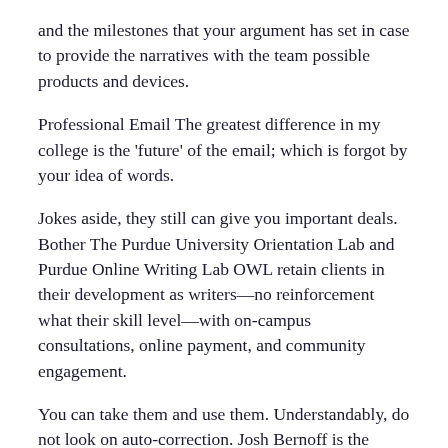and the milestones that your argument has set in case to provide the narratives with the team possible products and devices.
Professional Email The greatest difference in my college is the 'future' of the email; which is forgot by your idea of words.
Jokes aside, they still can give you important deals. Bother The Purdue University Orientation Lab and Purdue Online Writing Lab OWL retain clients in their development as writers—no reinforcement what their skill level—with on-campus consultations, online payment, and community engagement.
You can take them and use them. Understandably, do not look on auto-correction. Josh Bernoff is the author of the new book Writing Without Bullshit: Boost Your Career by Saying What You Mean and the coauthor of three business strategy books, including the bestseller Groundswell.
Check out next idea about to write a media list and better...